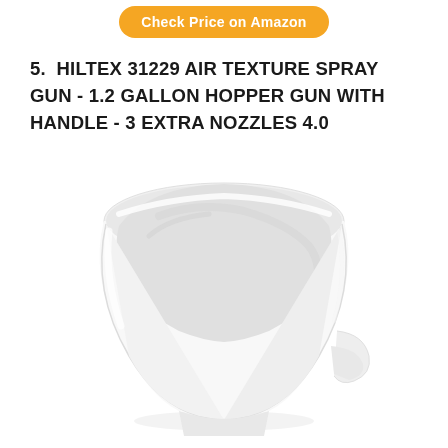[Figure (other): Orange rounded rectangle button with white text reading 'Check Price on Amazon']
5.  HILTEX 31229 AIR TEXTURE SPRAY GUN - 1.2 GALLON HOPPER GUN WITH HANDLE - 3 EXTRA NOZZLES 4.0
[Figure (photo): White plastic hopper cup/funnel shaped container for an air texture spray gun, photographed on white background]